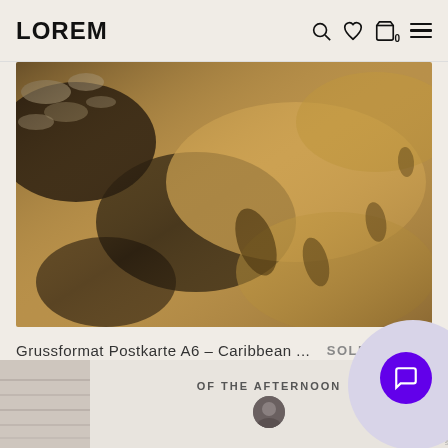LOREM
[Figure (photo): Aerial sepia-toned photograph of desert sand dunes with shadows and clouds]
Grussformat Postkarte A6 – Caribbean ...
SOLD OUT
[Figure (photo): Bottom strip showing a partially visible product image with wooden planks background and text 'OF THE AFTERNOON']